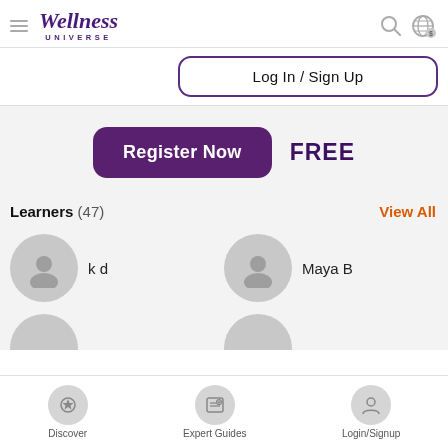[Figure (logo): Wellness Universe logo with hamburger menu, search icon, and globe icon]
Log In / Sign Up
Register Now   FREE
Learners (47)   View All
[Figure (illustration): Two learner avatars: k d and Maya B with circular placeholder profile images]
[Figure (illustration): Partial view of two more learner avatar circles]
[Figure (infographic): Bottom navigation bar with Discover, Expert Guides, and Login/Signup icons]